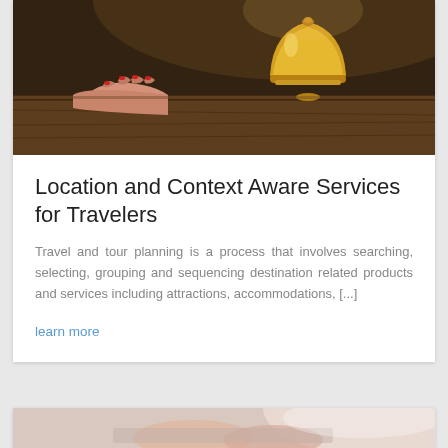[Figure (photo): Hotel reception desk with a hand and a brass service bell, warm toned photo]
Location and Context Aware Services for Travelers
Travel and tour planning is a process that involves searching, selecting, grouping and sequencing destination related products and services including attractions, accommodations, [...]
learn more
[Figure (photo): Hands working on a laptop, light blue toned photo, partially visible at bottom of page]